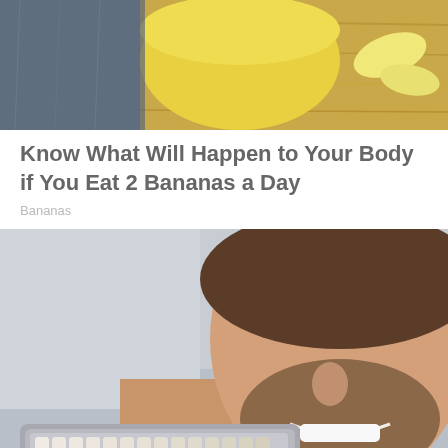[Figure (photo): Top portion of an image showing bananas and a yellow bowl on a wooden surface]
Know What Will Happen to Your Body if You Eat 2 Bananas a Day
Bananas
[Figure (photo): A smiling bearded man at a dental office holding a teeth shade guide or dental veneer sample up to his chin, wearing a teal dental bib]